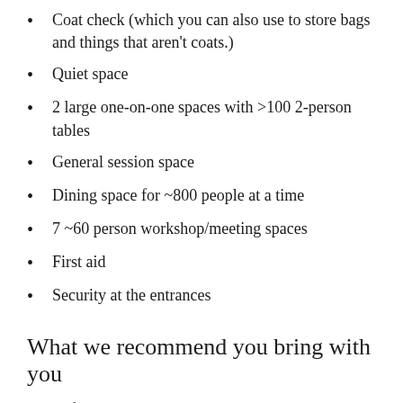Coat check (which you can also use to store bags and things that aren't coats.)
Quiet space
2 large one-on-one spaces with >100 2-person tables
General session space
Dining space for ~800 people at a time
7 ~60 person workshop/meeting spaces
First aid
Security at the entrances
What we recommend you bring with you
Refillable water bottle